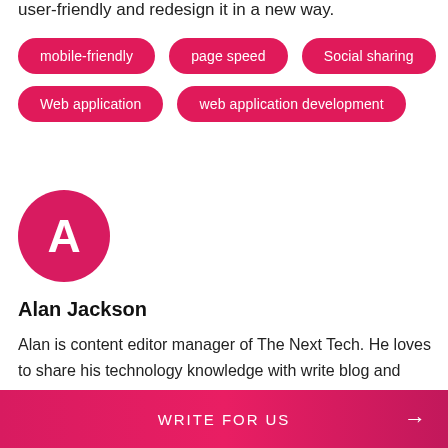user-friendly and redesign it in a new way.
mobile-friendly
page speed
Social sharing
Web application
web application development
[Figure (other): Avatar circle with letter A in crimson/pink]
Alan Jackson
Alan is content editor manager of The Next Tech. He loves to share his technology knowledge with write blog and article. Besides
WRITE FOR US →